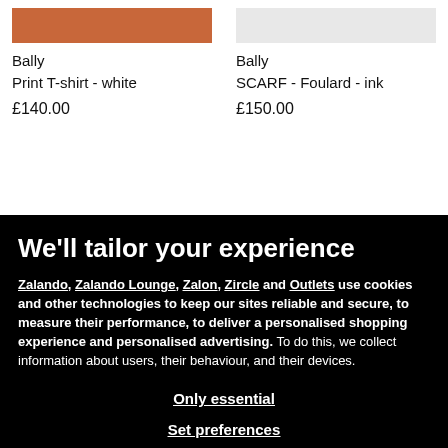Bally
Print T-shirt - white
£140.00
Bally
SCARF - Foulard - ink
£150.00
We'll tailor your experience
Zalando, Zalando Lounge, Zalon, Zircle and Outlets use cookies and other technologies to keep our sites reliable and secure, to measure their performance, to deliver a personalised shopping experience and personalised advertising. To do this, we collect information about users, their behaviour, and their devices.
If you select "That's OK", you accept this and agree that we may share this information with select partners.
Only essential
Set preferences
That's OK